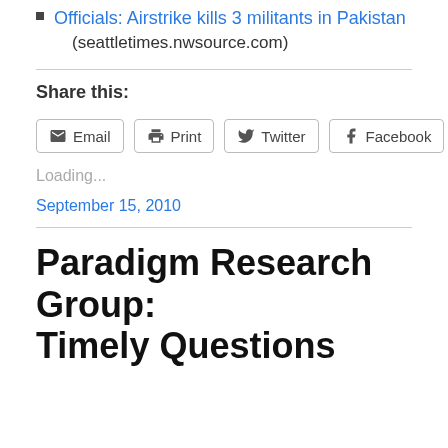Officials: Airstrike kills 3 militants in Pakistan (seattletimes.nwsource.com)
Share this:
Email  Print  Twitter  Facebook  Reddit
Loading...
September 15, 2010
Paradigm Research Group: Timely Questions